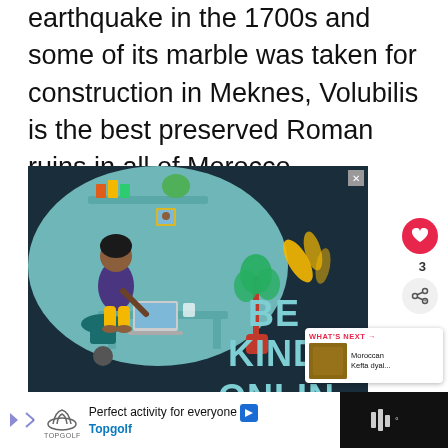earthquake in the 1700s and some of its marble was taken for construction in Meknes, Volubilis is the best preserved Roman ruins in all of Morocco.
[Figure (illustration): Advertisement illustration showing a person sitting at a desk working on a laptop, with bookshelves, plants, and decorative items in the background. Large text reads 'BE KIND ONLINE' on a dark teal/navy background.]
[Figure (infographic): What's Next panel showing a thumbnail of Moroccan Kefta dyal... with red header text 'WHAT'S NEXT →']
Perfect activity for everyone Topgolf